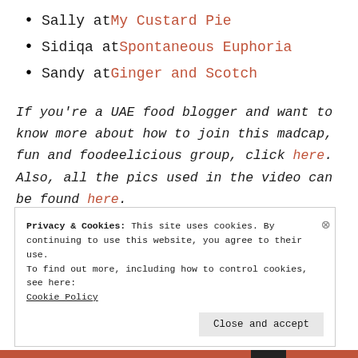Sally at My Custard Pie
Sidiqa at Spontaneous Euphoria
Sandy at Ginger and Scotch
If you're a UAE food blogger and want to know more about how to join this madcap, fun and foodeelicious group, click here. Also, all the pics used in the video can be found here.
Privacy & Cookies: This site uses cookies. By continuing to use this website, you agree to their use.
To find out more, including how to control cookies, see here:
Cookie Policy

Close and accept